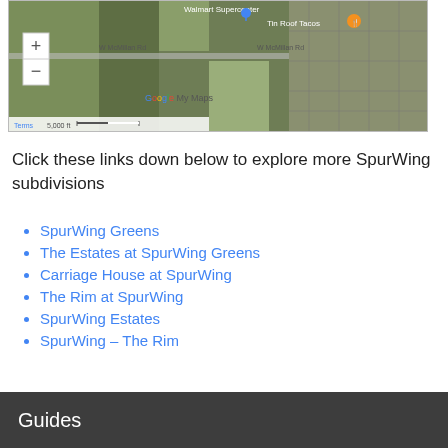[Figure (map): Google My Maps satellite view showing Walmart Supercenter, Tin Roof Tacos, W McMillan Rd, with zoom controls and scale bar showing 5,000 ft]
Click these links down below to explore more SpurWing subdivisions
SpurWing Greens
The Estates at SpurWing Greens
Carriage House at SpurWing
The Rim at SpurWing
SpurWing Estates
SpurWing – The Rim
Guides